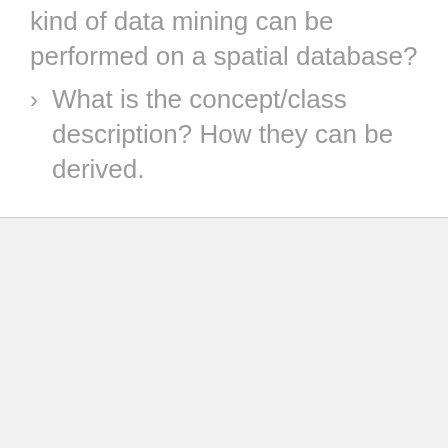kind of data mining can be performed on a spatial database?
What is the concept/class description? How they can be derived.